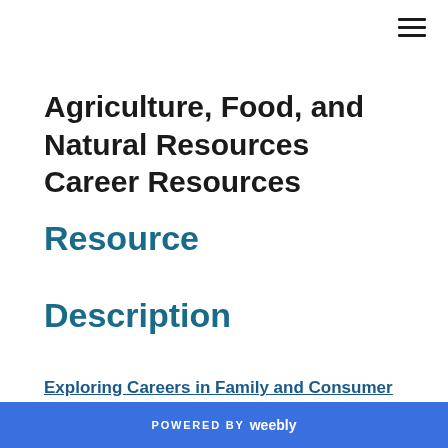Agriculture, Food, and Natural Resources Career Resources
Resource
Description
Exploring Careers in Family and Consumer Sciences
POWERED BY weebly